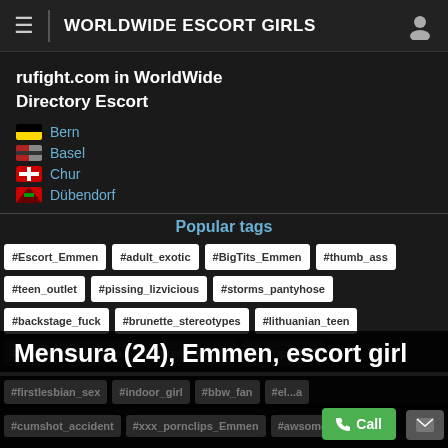WORLDWIDE ESCORT GIRLS
rufight.com in WorldWide Directory Escort
Bern
Basel
Chur
Dübendorf
Popular tags
#Escort_Emmen #adult_exotic #BigTits_Emmen #thumb_ass #teen_outlet #pissing_lizvicious #storms_pantyhose #backstage_fuck #brunette_stereotypes #lithuanian_teen #Emmen_teen_titties #entree_panties #europe_tits #firstlesbian_sex #indoor_girl #bbw_fan #el...a #cumshot_accident #xxx_pornclips_Emmen #awsome_fuck
Mensura (24), Emmen, escort girl